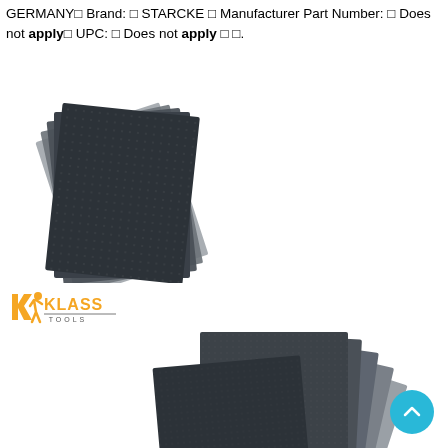GERMANY□ Brand: □ STARCKE □ Manufacturer Part Number: □ Does not apply□ UPC: □ Does not apply □ □.
[Figure (photo): Stack of dark gray/black sandpaper sheets fanned out, viewed from above at an angle]
[Figure (logo): Klass Tools logo with orange/yellow running figure icon and text 'KLASS TOOLS']
[Figure (photo): Stack of dark gray/black sandpaper sheets fanned out in a different arrangement, larger group]
[Figure (other): Cyan/teal circular scroll-to-top button with upward chevron arrow]